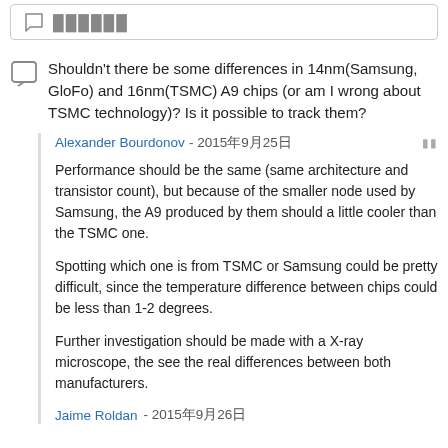comment icon / reply button area
Shouldn't there be some differences in 14nm(Samsung, GloFo) and 16nm(TSMC) A9 chips (or am I wrong about TSMC technology)? Is it possible to track them?
Alexander Bourdonov - 2015年9月25日
Performance should be the same (same architecture and transistor count), but because of the smaller node used by Samsung, the A9 produced by them should a little cooler than the TSMC one.
Spotting which one is from TSMC or Samsung could be pretty difficult, since the temperature difference between chips could be less than 1-2 degrees.
Further investigation should be made with a X-ray microscope, the see the real differences between both manufacturers.
Jaime Roldan - 2015年9月26日